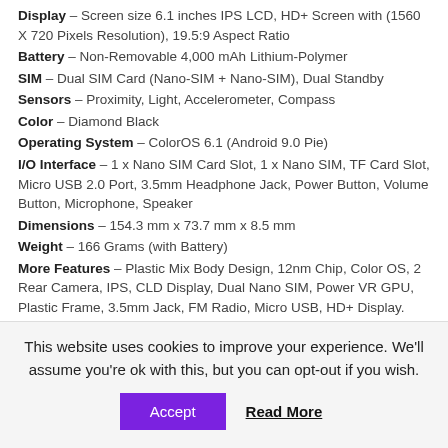Display – Screen size 6.1 inches IPS LCD, HD+ Screen with (1560 X 720 Pixels Resolution),  19.5:9 Aspect Ratio
Battery – Non-Removable 4,000 mAh Lithium-Polymer
SIM – Dual SIM Card (Nano-SIM + Nano-SIM), Dual Standby
Sensors – Proximity, Light, Accelerometer, Compass
Color – Diamond Black
Operating System – ColorOS 6.1 (Android 9.0 Pie)
I/O Interface – 1 x Nano SIM Card Slot, 1 x Nano SIM, TF Card Slot, Micro USB 2.0 Port, 3.5mm Headphone Jack, Power Button, Volume Button, Microphone, Speaker
Dimensions – 154.3 mm x 73.7 mm x 8.5 mm
Weight – 166 Grams (with Battery)
More Features –  Plastic Mix Body Design, 12nm Chip, Color OS, 2 Rear Camera, IPS, CLD Display, Dual Nano SIM, Power VR GPU, Plastic Frame, 3.5mm Jack, FM Radio, Micro USB, HD+ Display.
Related
This website uses cookies to improve your experience. We'll assume you're ok with this, but you can opt-out if you wish.